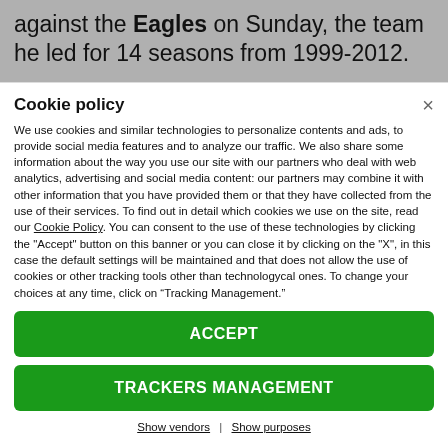against the Eagles on Sunday, the team he led for 14 seasons from 1999-2012.
Cookie policy
We use cookies and similar technologies to personalize contents and ads, to provide social media features and to analyze our traffic. We also share some information about the way you use our site with our partners who deal with web analytics, advertising and social media content: our partners may combine it with other information that you have provided them or that they have collected from the use of their services. To find out in detail which cookies we use on the site, read our Cookie Policy. You can consent to the use of these technologies by clicking the "Accept" button on this banner or you can close it by clicking on the "X", in this case the default settings will be maintained and that does not allow the use of cookies or other tracking tools other than technologycal ones. To change your choices at any time, click on “Tracking Management.”
ACCEPT
TRACKERS MANAGEMENT
Show vendors | Show purposes